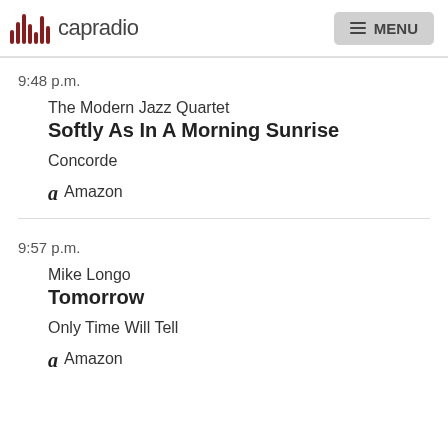capradio MENU
9:48 p.m.
The Modern Jazz Quartet
Softly As In A Morning Sunrise
Concorde
Amazon
9:57 p.m.
Mike Longo
Tomorrow
Only Time Will Tell
Amazon